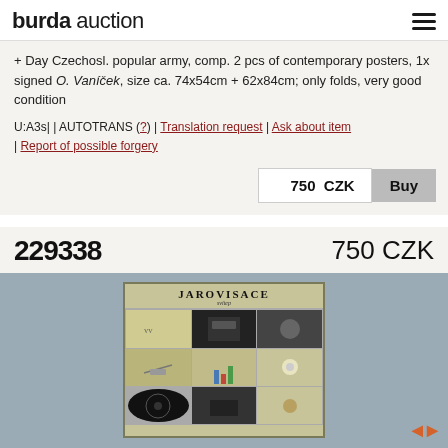burda auction
+ Day Czechosl. popular army, comp. 2 pcs of contemporary posters, 1x signed O. Vaníček, size ca. 74x54cm + 62x84cm; only folds, very good condition
U:A3s| | AUTOTRANS (?) | Translation request | Ask about item | Report of possible forgery
750  CZK
229338
750 CZK
[Figure (photo): Auction item photo: JAROVISACE poster, vintage Czech poster with text and images in a collage format on yellowish background, framed, shown against blue-grey background]